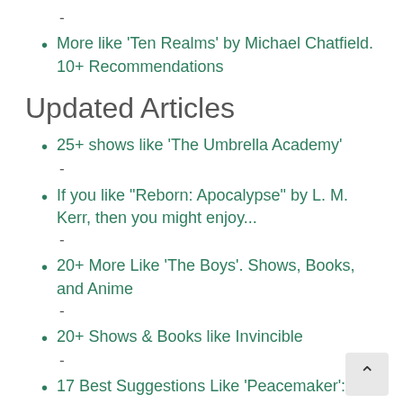-
More like 'Ten Realms' by Michael Chatfield. 10+ Recommendations
Updated Articles
25+ shows like 'The Umbrella Academy'
-
If you like "Reborn: Apocalypse" by L. M. Kerr, then you might enjoy...
-
20+ More Like 'The Boys'. Shows, Books, and Anime
-
20+ Shows & Books like Invincible
-
17 Best Suggestions Like 'Peacemaker': TV- Books, and Anime